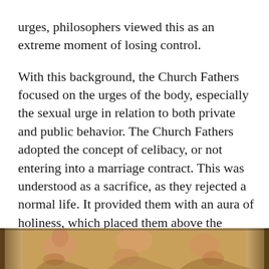urges, philosophers viewed this as an extreme moment of losing control.
With this background, the Church Fathers focused on the urges of the body, especially the sexual urge in relation to both private and public behavior. The Church Fathers adopted the concept of celibacy, or not entering into a marriage contract. This was understood as a sacrifice, as they rejected a normal life. It provided them with an aura of holiness, which placed them above the masses. The weaker members who could not sustain this sacrifice were to follow the traditions of marriage and children (which would help to grow the church).
[Figure (illustration): Bottom portion of a classical painting or fresco showing figures in a Renaissance or Baroque style, with warm golden-brown tones, depicting human figures in a religious or mythological scene.]